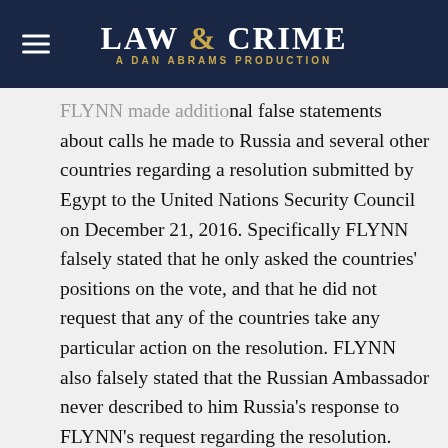LAW & CRIME — A DAN ABRAMS PRODUCTION
FLYNN made additional false statements about calls he made to Russia and several other countries regarding a resolution submitted by Egypt to the United Nations Security Council on December 21, 2016. Specifically FLYNN falsely stated that he only asked the countries' positions on the vote, and that he did not request that any of the countries take any particular action on the resolution. FLYNN also falsely stated that the Russian Ambassador never described to him Russia's response to FLYNN's request regarding the resolution.